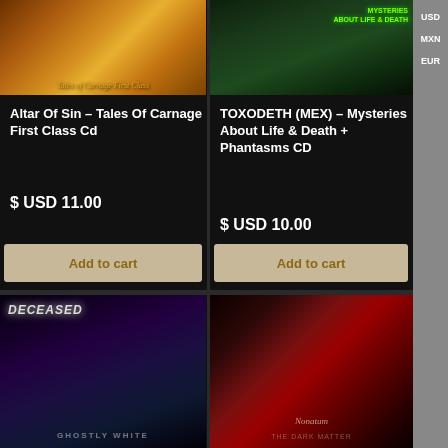[Figure (photo): Album art for Altar Of Sin - Tales Of Carnage First Class Cd, orange/gold fiery artwork]
Altar Of Sin – Tales Of Carnage First Class Cd
$ USD 11.00
[Figure (photo): Album art for TOXODETH (MEX) - Mysteries About Life & Death + Phantasms CD, dark green forest/nature theme]
TOXODETH (MEX) – Mysteries About Life & Death + Phantasms CD
$ USD 10.00
Add to cart
Add to cart
[Figure (photo): Album art for Deceased - Ghostly White, purple/blue horror artwork with zombie figure]
[Figure (photo): Album art showing red/dark figure against red doorway, Nonatum The Dark Matter]
USD
MXN
EUR